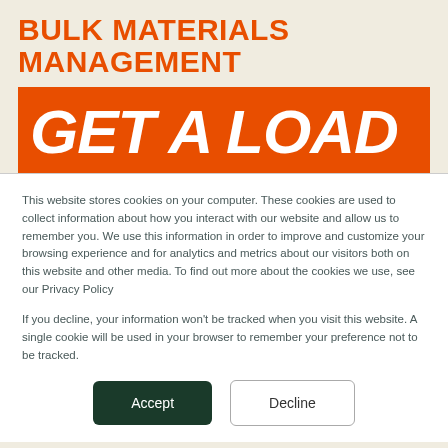BULK MATERIALS MANAGEMENT
[Figure (other): Orange banner with large bold italic white text reading 'GET A LOAD']
This website stores cookies on your computer. These cookies are used to collect information about how you interact with our website and allow us to remember you. We use this information in order to improve and customize your browsing experience and for analytics and metrics about our visitors both on this website and other media. To find out more about the cookies we use, see our Privacy Policy
If you decline, your information won't be tracked when you visit this website. A single cookie will be used in your browser to remember your preference not to be tracked.
Accept | Decline